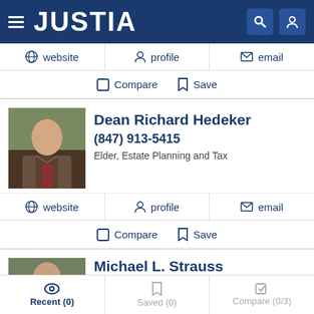JUSTIA
website | profile | email
Compare | Save
Dean Richard Hedeker
(847) 913-5415
Elder, Estate Planning and Tax
website | profile | email
Compare | Save
Michael L. Strauss
Free Consultation
Recent (0) | Saved (0) | Compare (0/3)